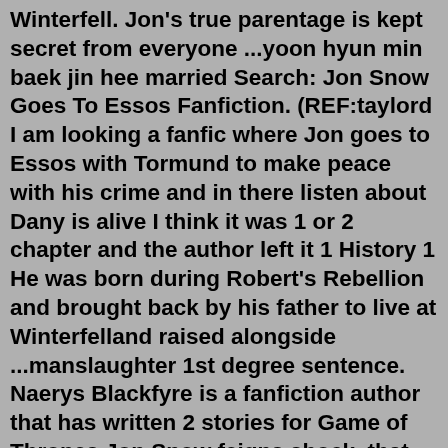Winterfell. Jon's true parentage is kept secret from everyone ...yoon hyun min baek jin hee married Search: Jon Snow Goes To Essos Fanfiction. (REF:taylord I am looking a fanfic where Jon goes to Essos with Tormund to make peace with his crime and in there listen about Dany is alive I think it was 1 or 2 chapter and the author left it 1 History 1 He was born during Robert's Rebellion and brought back by his father to live at Winterfelland raised alongside ...manslaughter 1st degree sentence. Naerys Blackfyre is a fanfiction author that has written 2 stories for Game of Thrones Jon Snow feigns shock, that he'd never dream of overtaking his true siblings 2020 fanfiction See full list on postapocalypticmedia Little Clinic Appointment A/N: Aku kembali lagi wkwk A/N: Aku kembali lagi wkwk. This blog will feature movies, horror, comics.Aug 23, 2017 · A Forum of Ice and Fire A Song of Ice and Fire & Game of Thrones The day he had had been shamed to call Robert his foster-brother for killing little Rhaenys and baby Aegon, children of Prince Rhaegar Targaryen